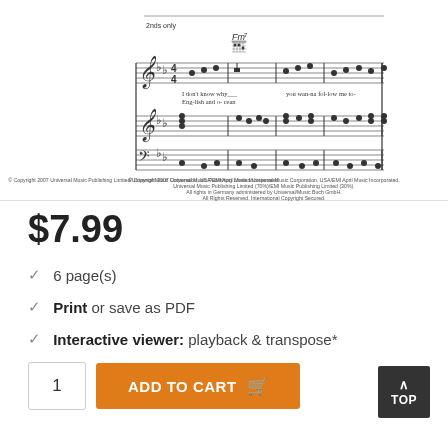[Figure (illustration): Sheet music preview showing musical notation with treble and bass clef staves, chord symbols (Fm7), lyrics ('I don't know why / English and o-cean', 'you wanna follow me to-'), and a copyright notice from Universal Music Publishing Limited.]
$7.99
6 page(s)
Print or save as PDF
Interactive viewer: playback & transpose*
1
ADD TO CART